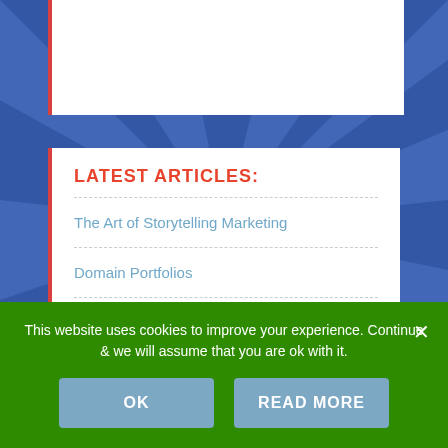LATEST ARTICLES:
The Art of Storytelling Marketing
Domain Portfolios
Stand out with your Unique Selling Position
This website uses cookies to improve your experience. Continue & we will assume that you are ok with it.
OK
READ MORE